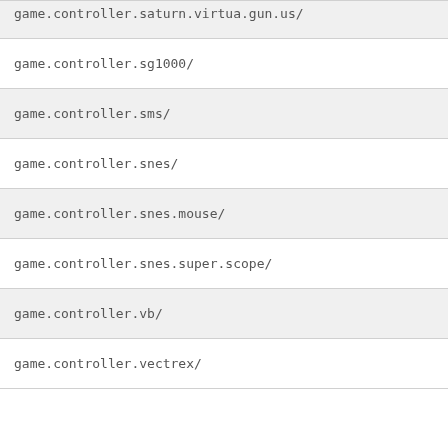| name | value |
| --- | --- |
| game.controller.saturn.virtua.gun.us/ | - |
| game.controller.sg1000/ | - |
| game.controller.sms/ | - |
| game.controller.snes/ | - |
| game.controller.snes.mouse/ | - |
| game.controller.snes.super.scope/ | - |
| game.controller.vb/ | - |
| game.controller.vectrex/ | - |